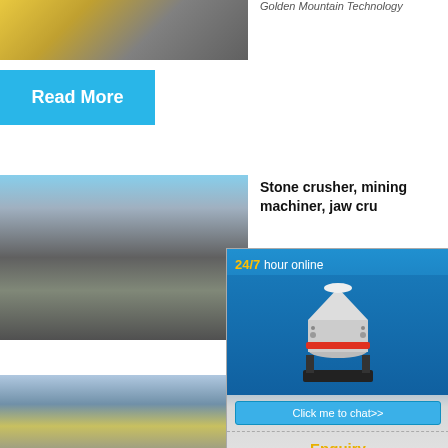[Figure (photo): Yellow and grey construction/road roller machinery photo at top left]
Read More
Golden Mountain Technology
[Figure (photo): Stone crusher and excavator at a mining/quarry site with dust and rock pile]
Stone crusher, mining machine, jaw crusher
2021-8-2...
Read
[Figure (other): Popup overlay showing a cone crusher machine with 24/7 hour online text, Click me to chat>> button, Enquiry link, and limingjlmofen username]
[Figure (photo): Quarry/mining landscape photo at bottom left]
40-60tph Rock Mining